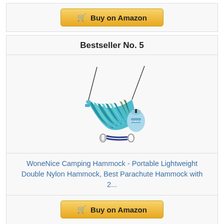[Figure (other): Buy on Amazon button at top of page]
Bestseller No. 5
[Figure (photo): WoneNice camping hammock product photo showing a blue/teal striped hammock with carrying bag and ropes with carabiners]
WoneNice Camping Hammock - Portable Lightweight Double Nylon Hammock, Best Parachute Hammock with 2...
[Figure (other): Buy on Amazon button at bottom of product card]